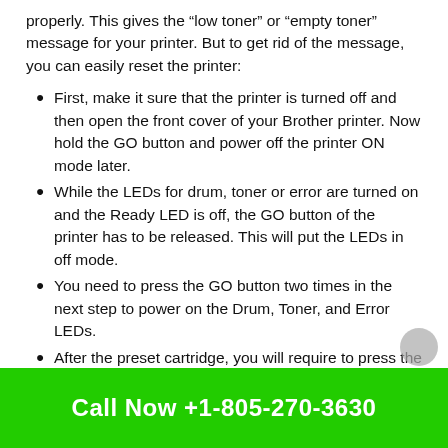properly. This gives the “low toner” or “empty toner” message for your printer. But to get rid of the message, you can easily reset the printer:
First, make it sure that the printer is turned off and then open the front cover of your Brother printer. Now hold the GO button and power off the printer ON mode later.
While the LEDs for drum, toner or error are turned on and the Ready LED is off, the GO button of the printer has to be released. This will put the LEDs in off mode.
You need to press the GO button two times in the next step to power on the Drum, Toner, and Error LEDs.
After the preset cartridge, you will require to press the GO button a few times or you can press
Call Now +1-805-270-3630